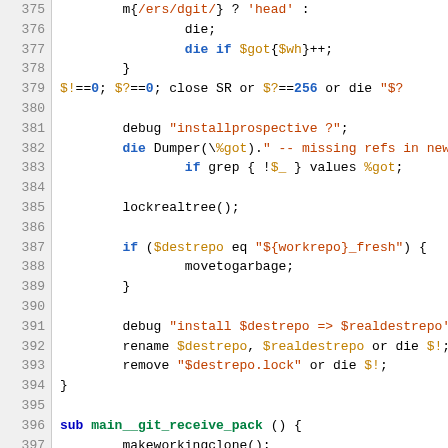Source code listing, lines 375-405, Perl script with syntax highlighting